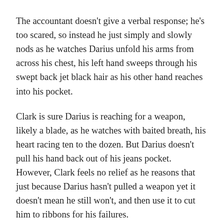The accountant doesn't give a verbal response; he's too scared, so instead he just simply and slowly nods as he watches Darius unfold his arms from across his chest, his left hand sweeps through his swept back jet black hair as his other hand reaches into his pocket.
Clark is sure Darius is reaching for a weapon, likely a blade, as he watches with baited breath, his heart racing ten to the dozen. But Darius doesn't pull his hand back out of his jeans pocket. However, Clark feels no relief as he reasons that just because Darius hasn't pulled a weapon yet it doesn't mean he still won't, and then use it to cut him to ribbons for his failures.
Clark had known from the moment he'd met Darius that accepting him as a client had been a mistake, but he'd been young and naïve then and didn't believe in